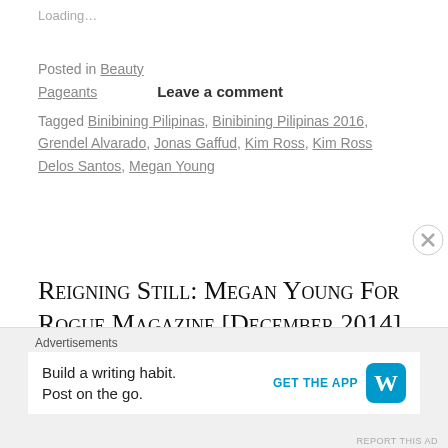Loading…
Posted in Beauty Pageants    Leave a comment
Tagged Binibining Pilipinas, Binibining Pilipinas 2016, Grendel Alvarado, Jonas Gaffud, Kim Ross, Kim Ross Delos Santos, Megan Young
Reigning Still: Megan Young For Rogue Magazine [December 2014]
Posted on December 13, 2014 | 1 comment
[Figure (photo): Partial photo strip at bottom of article]
Advertisements
Build a writing habit. Post on the go.   GET THE APP